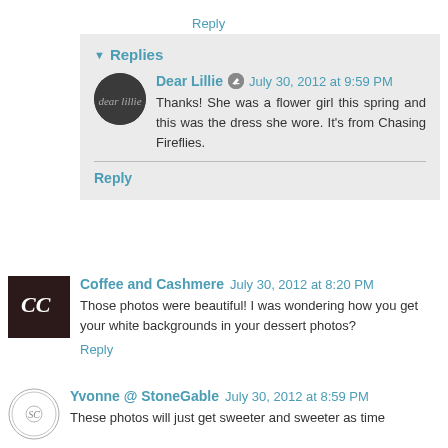Reply
▾ Replies
Dear Lillie  July 30, 2012 at 9:59 PM
Thanks! She was a flower girl this spring and this was the dress she wore. It's from Chasing Fireflies.
Reply
Coffee and Cashmere  July 30, 2012 at 8:20 PM
Those photos were beautiful! I was wondering how you get your white backgrounds in your dessert photos?
Reply
Yvonne @ StoneGable  July 30, 2012 at 8:59 PM
These photos will just get sweeter and sweeter as time